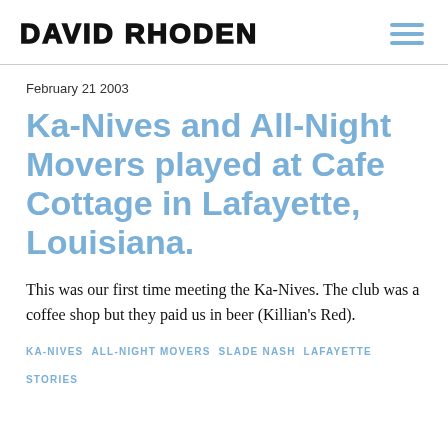DAVID RHODEN
February 21 2003
Ka-Nives and All-Night Movers played at Cafe Cottage in Lafayette, Louisiana.
This was our first time meeting the Ka-Nives. The club was a coffee shop but they paid us in beer (Killian's Red).
KA-NIVES
ALL-NIGHT MOVERS
SLADE NASH
LAFAYETTE
STORIES